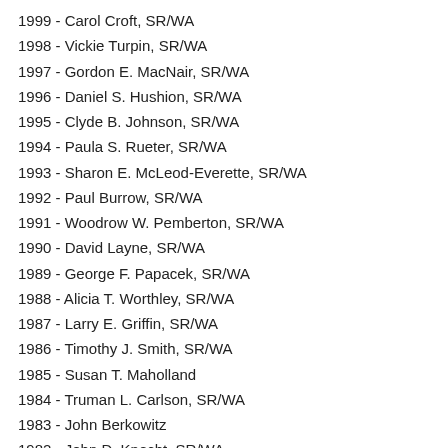1999 - Carol Croft, SR/WA
1998 - Vickie Turpin, SR/WA
1997 - Gordon E. MacNair, SR/WA
1996 - Daniel S. Hushion, SR/WA
1995 - Clyde B. Johnson, SR/WA
1994 - Paula S. Rueter, SR/WA
1993 - Sharon E. McLeod-Everette, SR/WA
1992 - Paul Burrow, SR/WA
1991 - Woodrow W. Pemberton, SR/WA
1990 - David Layne, SR/WA
1989 - George F. Papacek, SR/WA
1988 - Alicia T. Worthley, SR/WA
1987 - Larry E. Griffin, SR/WA
1986 - Timothy J. Smith, SR/WA
1985 - Susan T. Maholland
1984 - Truman L. Carlson, SR/WA
1983 - John Berkowitz
1982 - John D. Knecht, SR/WA
1981 - Ronald L. Williams, SR/WA
1980 - Otis E. Koske, SR/WA